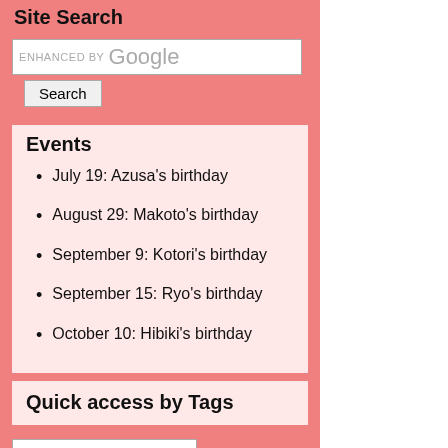Site Search
[Figure (other): Google search box with 'ENHANCED BY Google' text inside a bordered input field]
Search (button)
Events
July 19: Azusa's birthday
August 29: Makoto's birthday
September 9: Kotori's birthday
September 15: Ryo's birthday
October 10: Hibiki's birthday
Quick access by Tags
Past Diaries (dropdown)